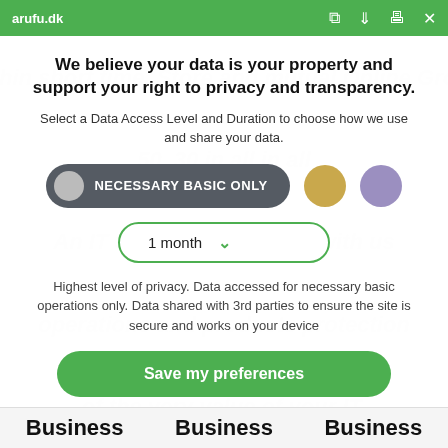arufu.dk
We believe your data is your property and support your right to privacy and transparency.
Select a Data Access Level and Duration to choose how we use and share your data.
NECESSARY BASIC ONLY
1 month
Highest level of privacy. Data accessed for necessary basic operations only. Data shared with 3rd parties to ensure the site is secure and works on your device
Save my preferences
Customize
Privacy policy
Business